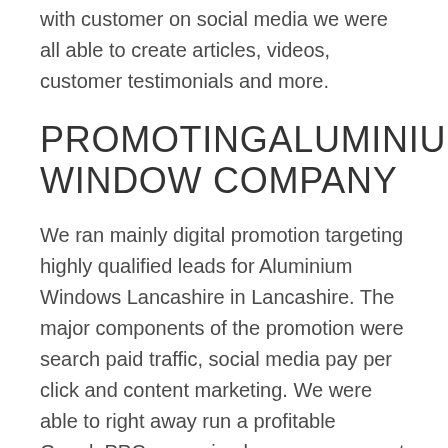Thanks to our more robust engagement with customer on social media we were all able to create articles, videos, customer testimonials and more.
PROMOTING ALUMINIUM WINDOW COMPANY
We ran mainly digital promotion targeting highly qualified leads for Aluminium Windows Lancashire in Lancashire. The major components of the promotion were search paid traffic, social media pay per click and content marketing. We were able to right away run a profitable GooglePPC campaign because we spent thousands of pounds bettering their paid search campaigns and also their paid…